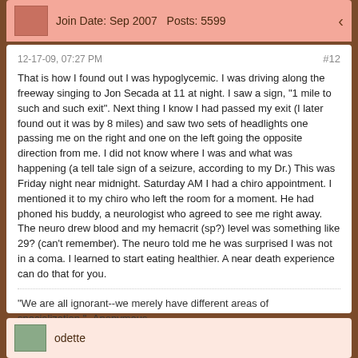Join Date: Sep 2007   Posts: 5599
12-17-09, 07:27 PM
#12
That is how I found out I was hypoglycemic. I was driving along the freeway singing to Jon Secada at 11 at night. I saw a sign, "1 mile to such and such exit". Next thing I know I had passed my exit (I later found out it was by 8 miles) and saw two sets of headlights one passing me on the right and one on the left going the opposite direction from me. I did not know where I was and what was happening (a tell tale sign of a seizure, according to my Dr.) This was Friday night near midnight. Saturday AM I had a chiro appointment. I mentioned it to my chiro who left the room for a moment. He had phoned his buddy, a neurologist who agreed to see me right away. The neuro drew blood and my hemacrit (sp?) level was something like 29? (can't remember). The neuro told me he was surprised I was not in a coma. I learned to start eating healthier. A near death experience can do that for you.
"We are all ignorant--we merely have different areas of specialization."~Anonymous
People, PLEASE..It's ONLY a website!~Me
odette